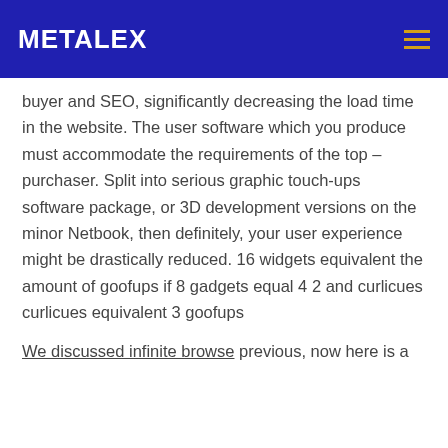METALEX
buyer and SEO, significantly decreasing the load time in the website. The user software which you produce must accommodate the requirements of the top – purchaser. Split into serious graphic touch-ups software package, or 3D development versions on the minor Netbook, then definitely, your user experience might be drastically reduced. 16 widgets equivalent the amount of goofups if 8 gadgets equal 4 2 and curlicues curlicues equivalent 3 goofups
We discussed infinite browse previous, now here is a